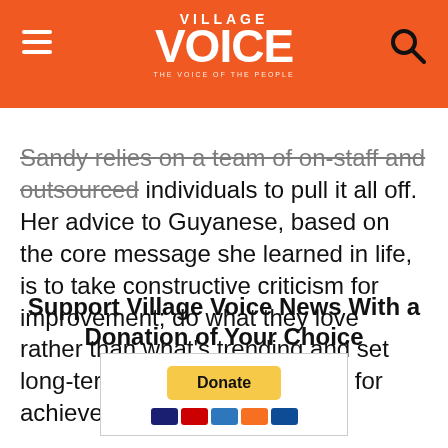Village Voice
Sandy relies on a team of on-staff and outsourced individuals to pull it all off. Her advice to Guyanese, based on the core message she learned in life, is to take constructive criticism for improvement; do what they love rather than what's trending and set long-term and short-term goals for achievement
Support Village Voice News With a Donation of Your Choice
[Figure (other): PayPal Donate button with accepted payment card icons below it including Visa, Mastercard, Amex, Discover, and JCB]